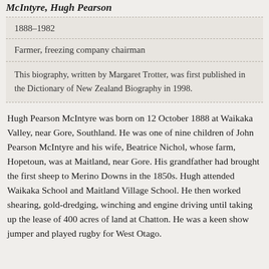McIntyre, Hugh Pearson
1888–1982
Farmer, freezing company chairman
This biography, written by Margaret Trotter, was first published in the Dictionary of New Zealand Biography in 1998.
Hugh Pearson McIntyre was born on 12 October 1888 at Waikaka Valley, near Gore, Southland. He was one of nine children of John Pearson McIntyre and his wife, Beatrice Nichol, whose farm, Hopetoun, was at Maitland, near Gore. His grandfather had brought the first sheep to Merino Downs in the 1850s. Hugh attended Waikaka School and Maitland Village School. He then worked shearing, gold-dredging, winching and engine driving until taking up the lease of 400 acres of land at Chatton. He was a keen show jumper and played rugby for West Otago.